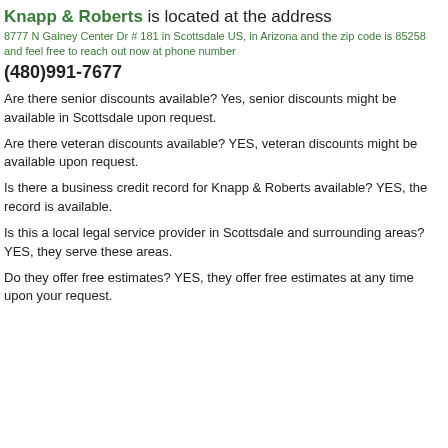Knapp & Roberts is located at the address
8777 N Gainey Center Dr # 181 in Scottsdale US, in Arizona and the zip code is 85258 and feel free to reach out now at phone number
(480)991-7677
Are there senior discounts available? Yes, senior discounts might be available in Scottsdale upon request.
Are there veteran discounts available? YES, veteran discounts might be available upon request.
Is there a business credit record for Knapp & Roberts available? YES, the record is available.
Is this a local legal service provider in Scottsdale and surrounding areas? YES, they serve these areas.
Do they offer free estimates? YES, they offer free estimates at any time upon your request.